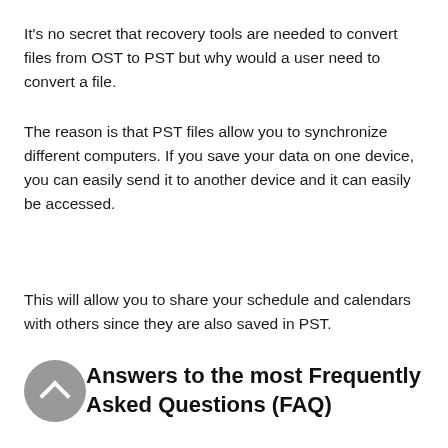It's no secret that recovery tools are needed to convert files from OST to PST but why would a user need to convert a file.
The reason is that PST files allow you to synchronize different computers. If you save your data on one device, you can easily send it to another device and it can easily be accessed.
This will allow you to share your schedule and calendars with others since they are also saved in PST.
Answers to the most Frequently Asked Questions (FAQ)